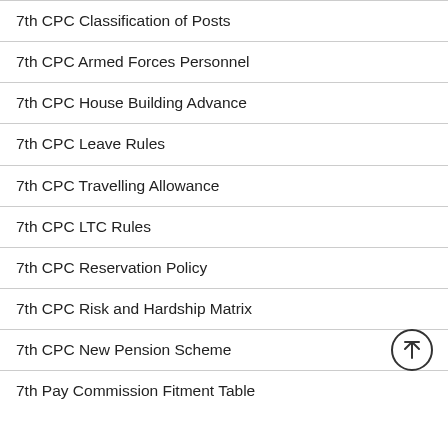7th CPC Classification of Posts
7th CPC Armed Forces Personnel
7th CPC House Building Advance
7th CPC Leave Rules
7th CPC Travelling Allowance
7th CPC LTC Rules
7th CPC Reservation Policy
7th CPC Risk and Hardship Matrix
7th CPC New Pension Scheme
7th Pay Commission Fitment Table